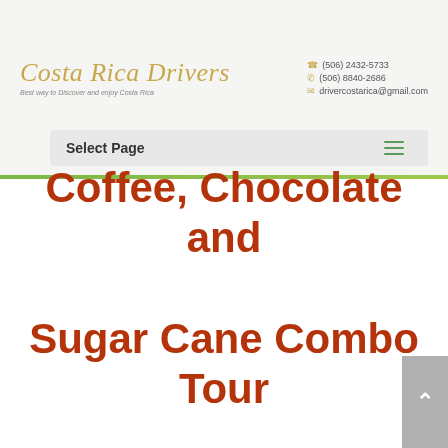Costa Rica Drivers — Best way to Discover and enjoy Costa Rica | ☎ (506) 2432-5733 | ✆ (506) 8840-2686 | ✉ drivercostarica@gmail.com
Select Page
Coffee, Chocolate and Sugar Cane Combo Tour